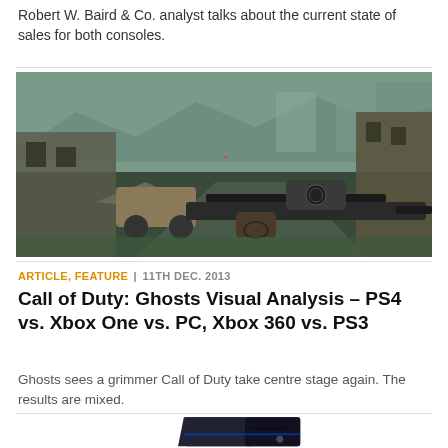Robert W. Baird & Co. analyst talks about the current state of sales for both consoles.
[Figure (screenshot): Call of Duty: Ghosts first-person shooter gameplay screenshot showing a sniper rifle pointed at a war-torn urban environment.]
ARTICLE, FEATURE | 11TH DEC. 2013
Call of Duty: Ghosts Visual Analysis – PS4 vs. Xbox One vs. PC, Xbox 360 vs. PS3
Ghosts sees a grimmer Call of Duty take centre stage again. The results are mixed.
[Figure (photo): PlayStation 4 console shown partially at the bottom of the page.]